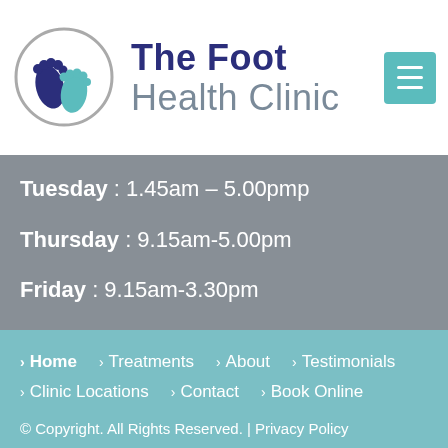[Figure (logo): The Foot Health Clinic logo with two foot prints in a circle, navy and grey color scheme]
The Foot Health Clinic
Tuesday : 1.45am – 5.00pmp
Thursday : 9.15am-5.00pm
Friday : 9.15am-3.30pm
› Home › Treatments › About › Testimonials › Clinic Locations › Contact › Book Online
© Copyright. All Rights Reserved. | Privacy Policy